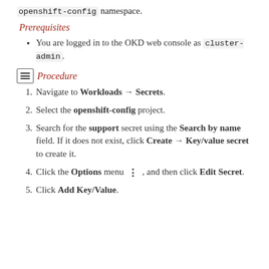openshift-config namespace.
Prerequisites
You are logged in to the OKD web console as cluster-admin.
Procedure
Navigate to Workloads → Secrets.
Select the openshift-config project.
Search for the support secret using the Search by name field. If it does not exist, click Create → Key/value secret to create it.
Click the Options menu ⋮ , and then click Edit Secret.
Click Add Key/Value.